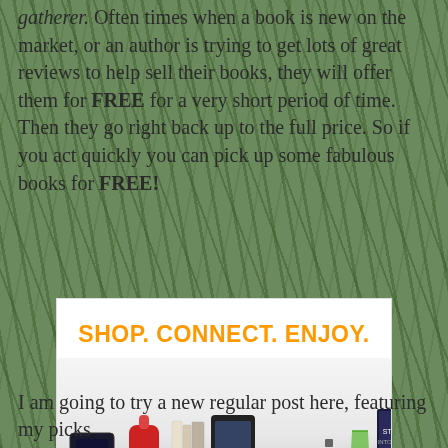gatherer.  Often times when a book is new on the market, or an author is trying to get lots of great reviews to help sell their books, they will offer them for FREE for a very short period of time.  Then they go right back up to the full price.  So if you act quickly you can pick up some fabulous books for FREE!
[Figure (infographic): Amazon advertisement: SHOP. CONNECT. ENJOY. with product images (handbag, gaming console, mixer, books, tablet, sneakers, watch, drink, Star Trek DVD), tagline 'All from Earth's biggest selection.' and Amazon logo with arrow. Privacy link shown.]
I am going to try a new regular post here, featuring my picks